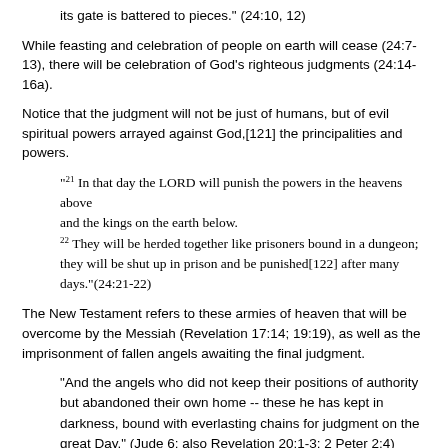its gate is battered to pieces." (24:10, 12)
While feasting and celebration of people on earth will cease (24:7-13), there will be celebration of God's righteous judgments (24:14-16a).
Notice that the judgment will not be just of humans, but of evil spiritual powers arrayed against God,[121] the principalities and powers.
“21 In that day the LORD will punish the powers in the heavens above
and the kings on the earth below.
22 They will be herded together like prisoners bound in a dungeon; they will be shut up in prison and be punished[122] after many days.”(24:21-22)
The New Testament refers to these armies of heaven that will be overcome by the Messiah (Revelation 17:14; 19:19), as well as the imprisonment of fallen angels awaiting the final judgment.
"And the angels who did not keep their positions of authority but abandoned their own home -- these he has kept in darkness, bound with everlasting chains for judgment on the great Day." (Jude 6; also Revelation 20:1-3; 2 Peter 2:4)
On that final Day of the Lord, even the heavenly bodies will be disrupted (Revelation 6:12; Matthew 24:29, quoting Isaiah 13:10; 34:4) as the Lord confirms his reign. The King has come!